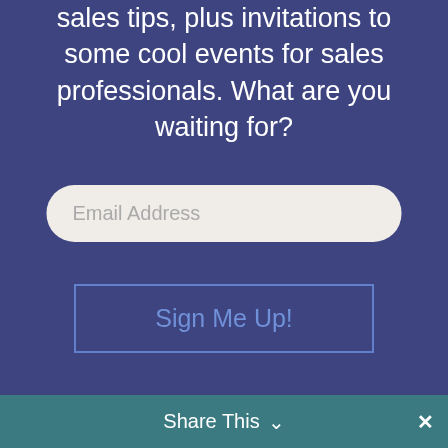sales tips, plus invitations to some cool events for sales professionals. What are you waiting for?
Email Address
Sign Me Up!
[Figure (infographic): Twitter share button bar with bird icon in circle]
[Figure (infographic): LinkedIn share button bar with 'in' icon in circle]
Share This